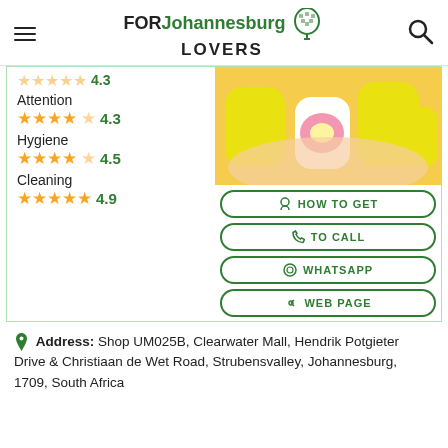FOR Johannesburg LOVERS
Attention 4.3
Hygiene 4.5
Cleaning 4.9
[Figure (photo): Close-up photo of manicured nails painted yellow and white with pink floral design]
HOW TO GET
TO CALL
WHATSAPP
WEB PAGE
Address: Shop UM025B, Clearwater Mall, Hendrik Potgieter Drive & Christiaan de Wet Road, Strubensvalley, Johannesburg, 1709, South Africa